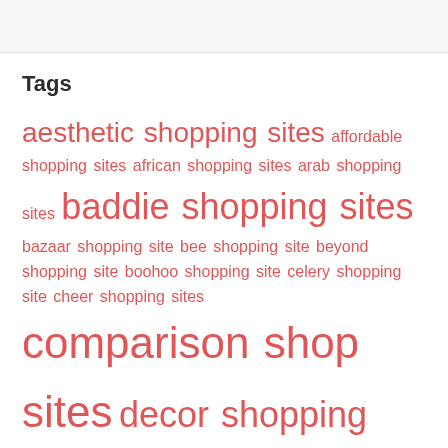Tags
aesthetic shopping sites affordable shopping sites african shopping sites arab shopping sites baddie shopping sites bazaar shopping site bee shopping site beyond shopping site boohoo shopping site celery shopping site cheer shopping sites comparison shop sites decor shopping sites discount shopping sites e shopping sites fugazi shopping site